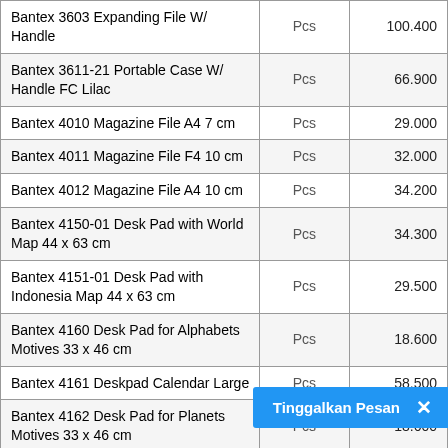| Product | Unit | Price |
| --- | --- | --- |
| Bantex 3603 Expanding File W/ Handle | Pcs | 100.400 |
| Bantex 3611-21 Portable Case W/ Handle FC Lilac | Pcs | 66.900 |
| Bantex 4010 Magazine File A4 7 cm | Pcs | 29.000 |
| Bantex 4011 Magazine File F4 10 cm | Pcs | 32.000 |
| Bantex 4012 Magazine File A4 10 cm | Pcs | 34.200 |
| Bantex 4150-01 Desk Pad with World Map 44 x 63 cm | Pcs | 34.300 |
| Bantex 4151-01 Desk Pad with Indonesia Map 44 x 63 cm | Pcs | 29.500 |
| Bantex 4160 Desk Pad for Alphabets Motives 33 x 46 cm | Pcs | 18.600 |
| Bantex 4161 Deskpad Calendar Large | Pcs | 58.500 |
| Bantex 4162 Desk Pad for Planets Motives 33 x 46 cm | Pcs | 18.600 |
| Bantex 4163 Deskpad Calendar Small | Pcs | 33.500 |
| Bantex 4205 Clipboard FC | Pcs | 16.000 |
| Bantex 4206 Clipboard A5 | Pcs |  |
| Bantex 4207 Clipboard A5 |  |  |